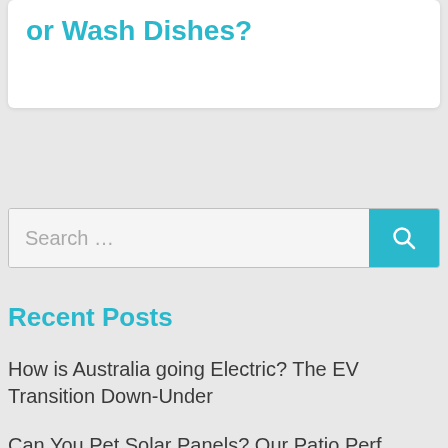or Wash Dishes?
[Figure (screenshot): Search bar with teal search button and magnifying glass icon]
Recent Posts
How is Australia going Electric? The EV Transition Down-Under
Can You Pet Solar Panels? Our Patio Perf...